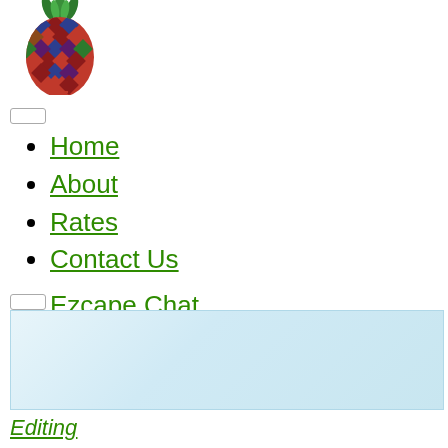[Figure (logo): Decorative pineapple logo with diamond/argyle pattern in red, blue, green colors]
Home
About
Rates
Contact Us
Ezcape Chat
[Figure (screenshot): Light blue gradient chat area box]
Editing